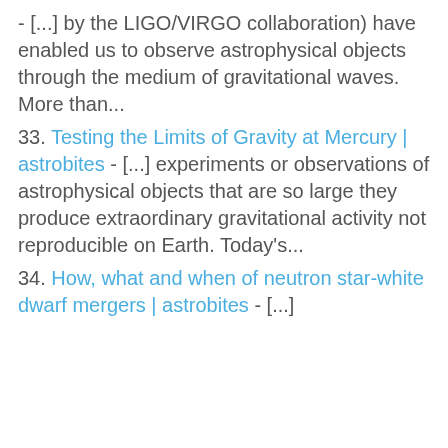- [...] by the LIGO/VIRGO collaboration) have enabled us to observe astrophysical objects through the medium of gravitational waves. More than...
33. Testing the Limits of Gravity at Mercury | astrobites - [...] experiments or observations of astrophysical objects that are so large they produce extraordinary gravitational activity not reproducible on Earth. Today's...
34. How, what and when of neutron star-white dwarf mergers | astrobites - [...]